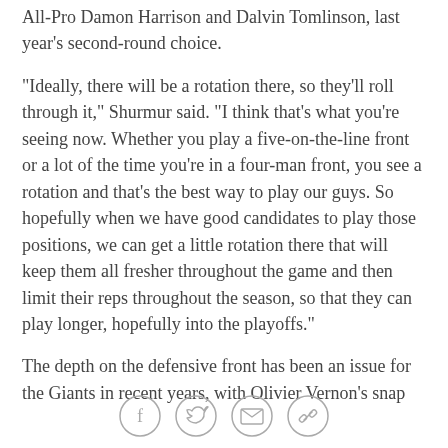All-Pro Damon Harrison and Dalvin Tomlinson, last year's second-round choice.
"Ideally, there will be a rotation there, so they'll roll through it," Shurmur said. "I think that's what you're seeing now. Whether you play a five-on-the-line front or a lot of the time you're in a four-man front, you see a rotation and that's the best way to play our guys. So hopefully when we have good candidates to play those positions, we can get a little rotation there that will keep them all fresher throughout the game and then limit their reps throughout the season, so that they can play longer, hopefully into the playoffs."
The depth on the defensive front has been an issue for the Giants in recent years, with Olivier Vernon's snap
[Figure (infographic): Social media sharing icons: Facebook, Twitter, Email, and a link/chain icon, arranged in a row at the bottom of the page.]